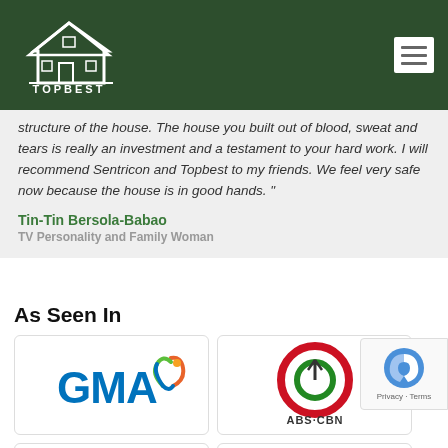[Figure (logo): Topbest logo — white house icon with 'TOPBEST' text on dark green header bar]
structure of the house. The house you built out of blood, sweat and tears is really an investment and a testament to your hard work. I will recommend Sentricon and Topbest to my friends. We feel very safe now because the house is in good hands. "
Tin-Tin Bersola-Babao
TV Personality and Family Woman
As Seen In
[Figure (logo): GMA network logo — blue GMA text with colorful heart/leaf swirl icon]
[Figure (logo): ABS-CBN logo — red and green concentric circles with antenna and ABS-CBN text]